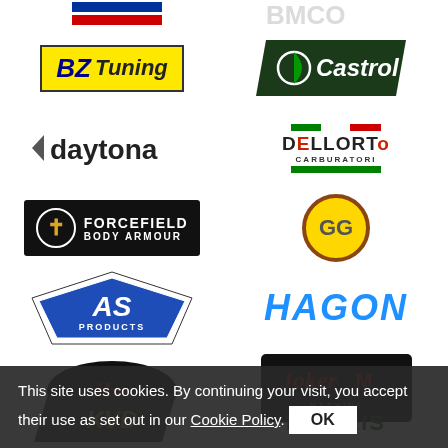[Figure (logo): Partial logo top left (blue/red stripes, partial view)]
[Figure (logo): Partial logo top right (partially visible text)]
[Figure (logo): BZ Tuning logo - yellow background with dark blue BZ and Tuning text]
[Figure (logo): Castrol logo - dark green parallelogram shape with white text and circle icon]
[Figure (logo): Daytona logo - black stylized text with arrow]
[Figure (logo): Dellorto Carburatori logo - Italian flag colors with text]
[Figure (logo): Forcefield Body Armour logo - black background with cross icon]
[Figure (logo): GG circular logo - yellow circle with brown border and GG text]
[Figure (logo): AS Products logo - diamond/arrow shield shape]
[Figure (logo): Hagon logo - blue italic bold text]
[Figure (logo): JHR logo - dark oval with red italic text]
[Figure (logo): Joker Machine logo - dark background with red italic text]
This site uses cookies. By continuing your visit, you accept their use as set out in our Cookie Policy.
[Figure (logo): KVD partial logo at bottom left - dark background with gold text]
[Figure (logo): Morris partial logo at bottom right - green text]